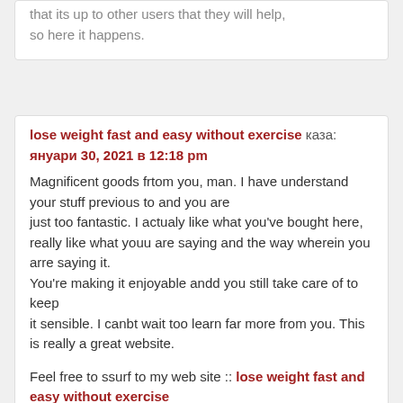that its up to other users that they will help, so here it happens.
lose weight fast and easy without exercise каза: януари 30, 2021 в 12:18 pm
Magnificent goods frtom you, man. I have understand your stuff previous to and you are just too fantastic. I actualy like what you've bought here, really like what youu are saying and the way wherein you arre saying it.
You're making it enjoyable andd you still take care of to keep it sensible. I canbt wait too learn far more from you. This is really a great website.
Feel free to ssurf to my web site :: lose weight fast and easy without exercise